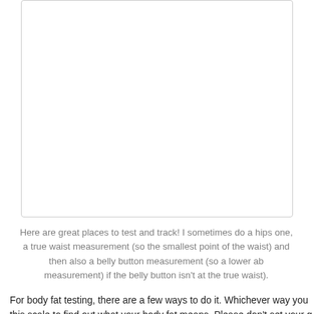[Figure (other): Empty bordered box, likely a placeholder for an image of body measurement locations]
Here are great places to test and track! I sometimes do a hips one, a true waist measurement (so the smallest point of the waist) and then also a belly button measurement (so a lower ab measurement) if the belly button isn't at the true waist).
For body fat testing, there are a few ways to do it. Whichever way you this scale to find out what your body fat means. Please don't set your g bodybuilders who reach that point DON'T maintain it for very long. At th